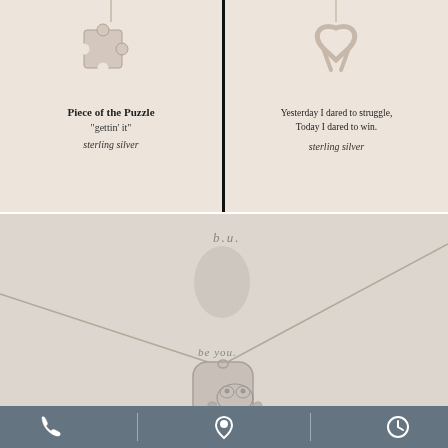[Figure (photo): Puzzle piece sterling silver pendant necklace on cream card with text 'Piece of the Puzzle', '"gettin' it"', 'sterling silver']
Piece of the Puzzle
"gettin' it"
sterling silver
[Figure (photo): Awareness ribbon sterling silver pendant necklace on cream card with inspirational quote]
Yesterday I dared to struggle,
Today I dared to win.
sterling silver
[Figure (photo): Silver dog-tag style pendant with panda/bird engraving on chain, card shows 'b.u.' text and fingerprint, 'be you' text]
phone | location | clock icons